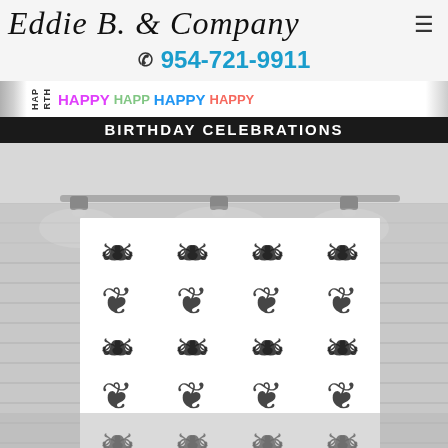Eddie B. & Company
954-721-9911
[Figure (photo): Birthday celebrations banner with colorful HAPPY text and a photo of a room with a black and white damask patterned step-and-repeat backdrop on a white brick wall with spotlights]
BIRTHDAY CELEBRATIONS